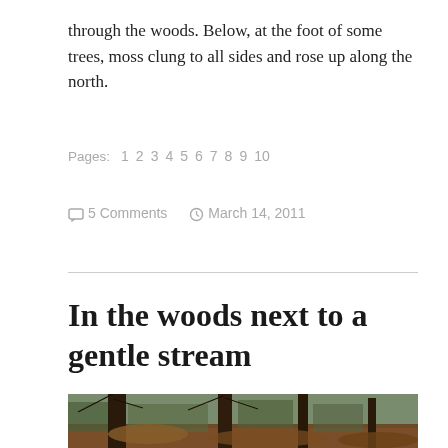through the woods. Below, at the foot of some trees, moss clung to all sides and rose up along the north.
Pages: 1 2 3 4 5 6 7 8 9 10
5 Comments   March 14, 2011
In the woods next to a gentle stream
[Figure (photo): A forest scene with dark tree trunks, bare branches, and brown autumn leaves on the ground, with green conifers in the background]